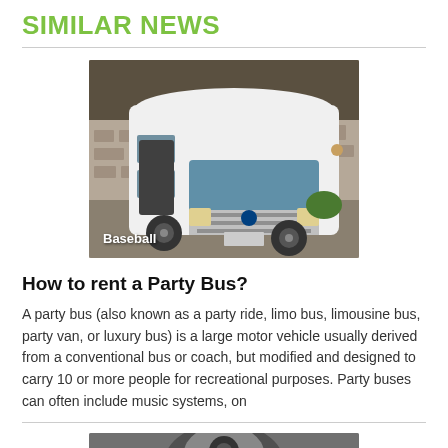SIMILAR NEWS
[Figure (photo): A white party bus/van parked in front of a house with stone facade. The vehicle is large with a high roof. Label 'Baseball' appears in white bold text at the bottom left of the image.]
How to rent a Party Bus?
A party bus (also known as a party ride, limo bus, limousine bus, party van, or luxury bus) is a large motor vehicle usually derived from a conventional bus or coach, but modified and designed to carry 10 or more people for recreational purposes. Party buses can often include music systems, on
[Figure (photo): Partial view of another image at the bottom of the page, partially cut off.]